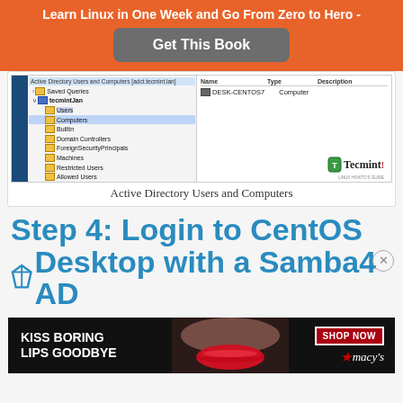Learn Linux in One Week and Go From Zero to Hero -
[Figure (screenshot): Active Directory Users and Computers window showing tree structure on left with folders: Saved Queries, tecmintJan with subfolders Users, Computers, Builtin, Domain Controllers, ForeignSecurityPrincipals, Machines, Restricted Users, Allowed Users, Linux Users, Disabled Users, JustUsers, ADMINS. Right panel shows Name: DESK-CENTOS7, Type: Computer. Tecmint logo visible.]
Active Directory Users and Computers
Step 4: Login to CentOS Desktop with a Samba4 AD
[Figure (photo): Macy's advertisement: KISS BORING LIPS GOODBYE with a woman's red lips, SHOP NOW button and macy's star logo on dark background]